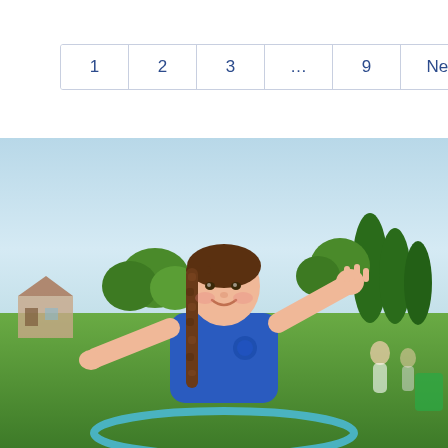1  2  3  ...  9  Next »
[Figure (photo): A young girl wearing a blue school PE t-shirt with a braid, arms raised joyfully, hula hooping outdoors on a sunny day. Green trees and houses visible in the background.]